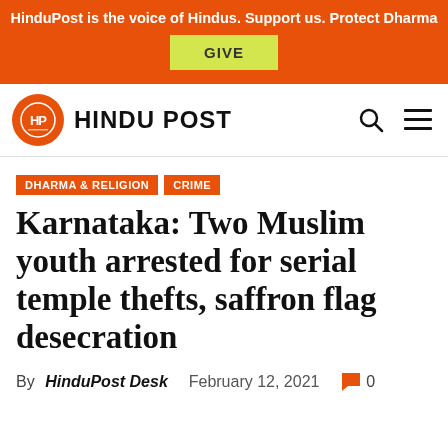HinduPost is the voice of Hindus. Support us. Protect Dharma
[Figure (logo): HinduPost logo with orange circle containing HP monogram and site name HINDU POST]
DHARMA & RELIGION
CRIME
Karnataka: Two Muslim youth arrested for serial temple thefts, saffron flag desecration
By HinduPost Desk  February 12, 2021  0